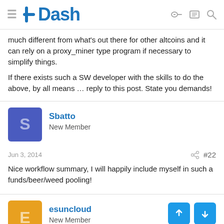Dash
much different from what's out there for other altcoins and it can rely on a proxy_miner type program if necessary to simplify things.
If there exists such a SW developer with the skills to do the above, by all means … reply to this post. State you demands!
Sbatto
New Member
Jun 3, 2014
#22
Nice workflow summary, I will happily include myself in such a funds/beer/weed pooling!
esuncloud
New Member